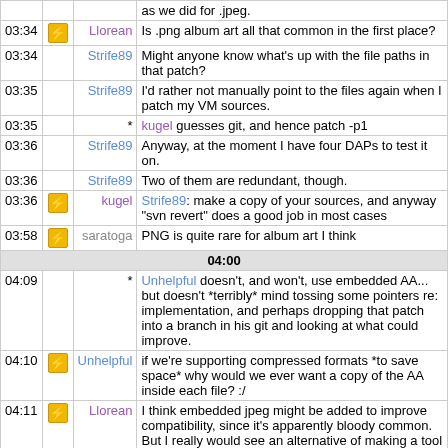| time | icon | user | message |
| --- | --- | --- | --- |
|  |  |  | as we did for .jpeg. |
| 03:34 | [icon] | Llorean | Is .png album art all that common in the first place? |
| 03:34 |  | Strife89 | Might anyone know what's up with the file paths in that patch? |
| 03:35 |  | Strife89 | I'd rather not manually point to the files again when I patch my VM sources. |
| 03:35 |  | * | kugel guesses git, and hence patch -p1 |
| 03:36 |  | Strife89 | Anyway, at the moment I have four DAPs to test it on. |
| 03:36 |  | Strife89 | Two of them are redundant, though. |
| 03:36 | [icon] | kugel | Strife89: make a copy of your sources, and anyway "svn revert" does a good job in most cases |
| 03:58 | [icon] | saratoga | PNG is quite rare for album art I think |
| 04:00 |  |  |  |
| 04:09 |  | * | Unhelpful doesn't, and won't, use embedded AA... but doesn't *terribly* mind tossing some pointers re: implementation, and perhaps dropping that patch into a branch in his git and looking at what could improve. |
| 04:10 | [icon] | Unhelpful | if we're supporting compressed formats *to save space* why would we ever want a copy of the AA inside each file? :/ |
| 04:11 | [icon] | Llorean | I think embedded jpeg might be added to improve compatibility, since it's apparently bloody common. But I really would see an alternative of making a tool available on a wiki that'll go through a collection with embedded AA and extract it to Rockbox usable AA. |
| 04:14 | [icon] | Unhelpful | Llorean: bonus points if it strips the embedded AA from the tracks, too. :) |